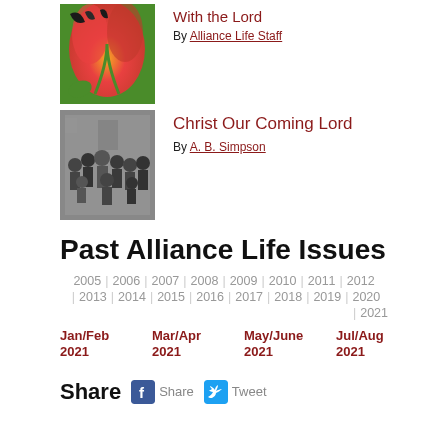[Figure (photo): Red and yellow tulip flower close-up]
With the Lord
By Alliance Life Staff
[Figure (photo): Black and white group photo of people]
Christ Our Coming Lord
By A. B. Simpson
Past Alliance Life Issues
2005 | 2006 | 2007 | 2008 | 2009 | 2010 | 2011 | 2012 | 2013 | 2014 | 2015 | 2016 | 2017 | 2018 | 2019 | 2020 | 2021
Jan/Feb 2021
Mar/Apr 2021
May/June 2021
Jul/Aug 2021
Share  Share  Tweet